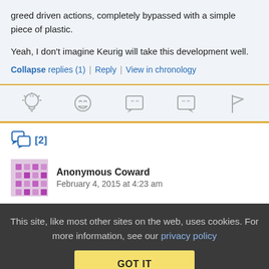greed driven actions, completely bypassed with a simple piece of plastic.
Yeah, I don't imagine Keurig will take this development well.
Collapse replies (1) | Reply | View in chronology
[Figure (infographic): Row of 5 gray icons: lightbulb, laughing face, speech bubble with quote marks, speech bubble with quotation marks, flag]
[2] thread count with chat icon
Anonymous Coward  February 4, 2015 at 4:23 am
This site, like most other sites on the web, uses cookies. For more information, see our privacy policy  GOT IT